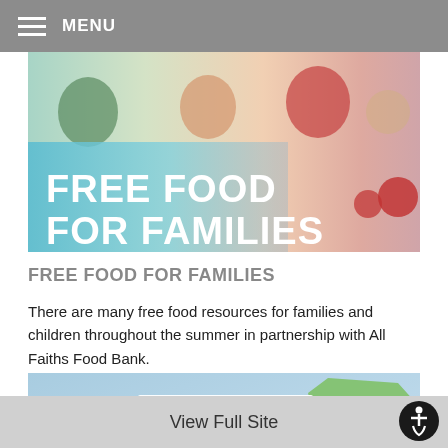MENU
[Figure (photo): Banner image of children with overlay text FREE FOOD FOR FAMILIES in bold white letters on a teal/cyan gradient background, with children eating and a red tricycle visible.]
FREE FOOD FOR FAMILIES
There are many free food resources for families and children throughout the summer in partnership with All Faiths Food Bank.
[Figure (map): Map of Florida with National Academies of Sciences Engineering Medicine logo overlaid on the left, showing Florida state map with city labels including Orlando, Tampa, Saint Petersburg, Melbourne, and FLORIDA text.]
View Full Site